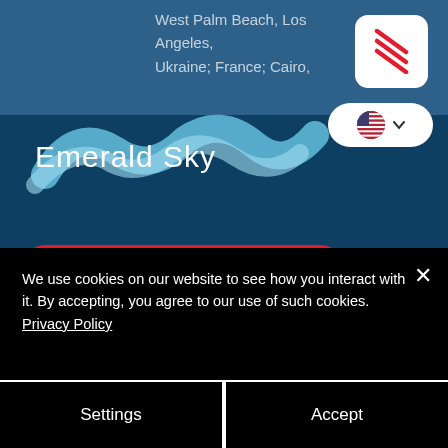[Figure (screenshot): Emerald Sky Group website screenshot showing logo, Call Us Now button, email support@emeraldskygroup.com, phone Tel: +1-561-320-7773 on dark blue background]
West Palm Beach, Los Angeles, Ukraine; France; Cairo,
[Figure (logo): Emerald Sky logo with wave graphic]
Call Us Now
Email:
support@emeraldskygroup.com
Tel:  +1-561-320-7773
We use cookies on our website to see how you interact with it. By accepting, you agree to our use of such cookies. Privacy Policy
Settings
Accept